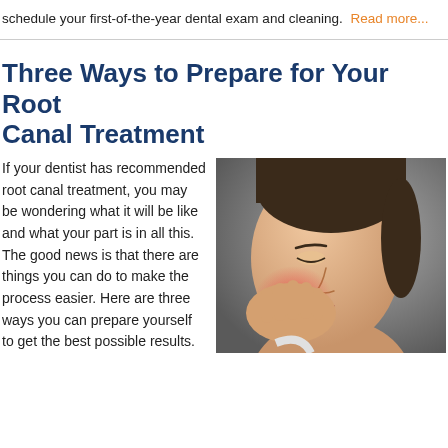schedule your first-of-the-year dental exam and cleaning. Read more...
Three Ways to Prepare for Your Root Canal Treatment
[Figure (photo): Woman holding her cheek in pain, suggesting dental/tooth pain, with a reddish glow near her jaw area]
If your dentist has recommended root canal treatment, you may be wondering what it will be like and what your part is in all this. The good news is that there are things you can do to make the process easier. Here are three ways you can prepare yourself to get the best possible results.